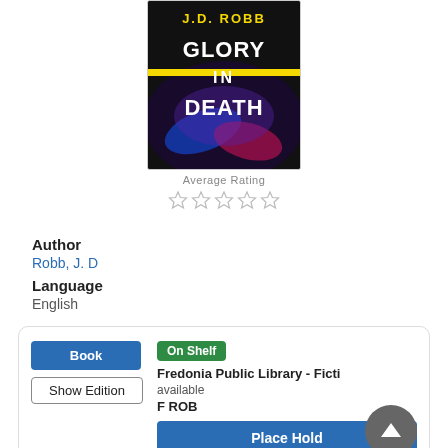[Figure (illustration): Book cover of 'Glory in Death' by J.D. Robb. Shows the title in large white letters with 'J.D. ROBB' in yellow at the top, against a dark background with motion-blur lighting effects in blue, red, and purple.]
Average Rating
[Figure (other): 5 empty/unfilled star rating icons]
Author
Robb, J. D
Language
English
Book
Show Edition
On Shelf
Fredonia Public Library - Ficti
available
F ROB
Place Hold